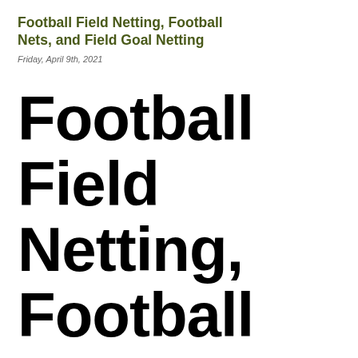Football Field Netting, Football Nets, and Field Goal Netting
Friday, April 9th, 2021
Football Field Netting, Football Nets, and Field Goal Netting